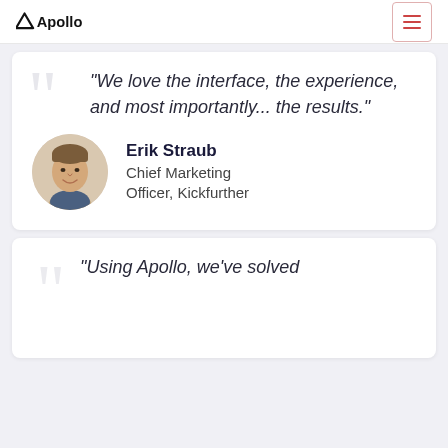Apollo
"We love the interface, the experience, and most importantly... the results."
[Figure (photo): Circular headshot photo of Erik Straub, a young man with short hair, smiling, against a warm beige background.]
Erik Straub
Chief Marketing Officer, Kickfurther
"Using Apollo, we've solved